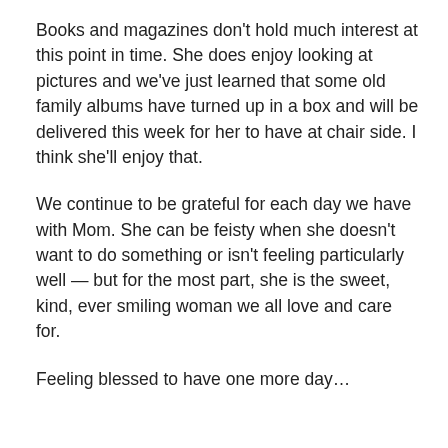Books and magazines don't hold much interest at this point in time.  She does enjoy looking at pictures and we've just learned that some old family albums have turned up in a box and will be delivered this week for her to have at chair side.  I think she'll enjoy that.
We continue to be grateful for each day we have with Mom.  She can be feisty when she doesn't want to do something or isn't feeling particularly well — but for the most part, she is the sweet, kind, ever smiling woman we all love and care for.
Feeling blessed to have one more day…